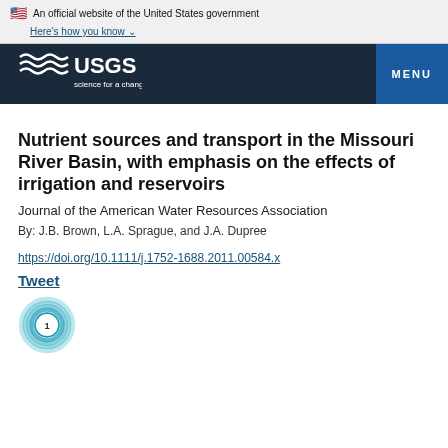An official website of the United States government Here's how you know
[Figure (logo): USGS logo with text 'science for a changing world' on dark navy background, with MENU button]
Nutrient sources and transport in the Missouri River Basin, with emphasis on the effects of irrigation and reservoirs
Journal of the American Water Resources Association
By: J.B. Brown, L.A. Sprague, and J.A. Dupree
https://doi.org/10.1111/j.1752-1688.2011.00584.x
Tweet
[Figure (infographic): Tweet count circle graphic showing number 1 in a teal/cyan circular ring design]